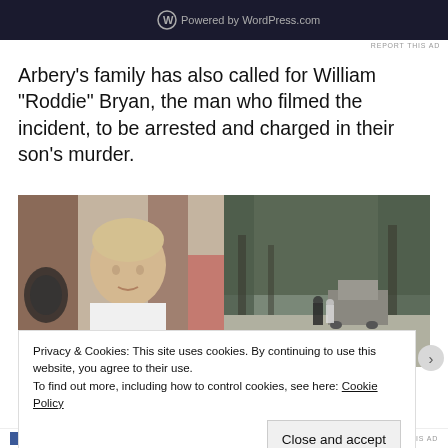[Figure (screenshot): Dark banner with WordPress logo and 'Powered by WordPress.com' text]
REPORT THIS AD
Arbery's family has also called for William “Roddie” Bryan, the man who filmed the incident, to be arrested and charged in their son’s murder.
[Figure (photo): Two-panel image: left panel shows a man with blond/gray hair in a white t-shirt in an indoor setting; right panel shows a grayscale outdoor scene with figures near a vehicle on a road with trees]
Privacy & Cookies: This site uses cookies. By continuing to use this website, you agree to their use.
To find out more, including how to control cookies, see here: Cookie Policy
Close and accept
REPORT THIS AD